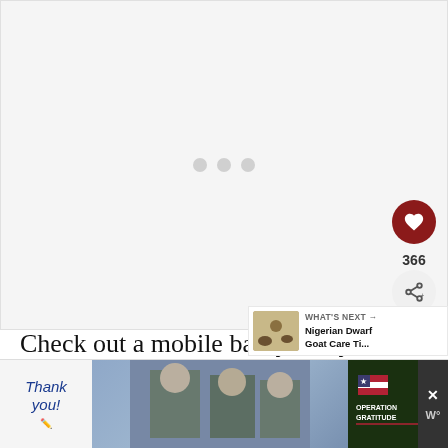[Figure (screenshot): Video player loading state with three grey dots centered on a light grey background]
[Figure (screenshot): Like button (heart icon, dark red circle) with count 366 and share button below]
[Figure (screenshot): What's Next panel showing thumbnail and title: Nigerian Dwarf Goat Care Ti...]
Check out a mobile barnyard system th Justin Rhodes visited during the Great
[Figure (screenshot): Advertisement banner: Thank you military appreciation ad with Operation Gratitude logo]